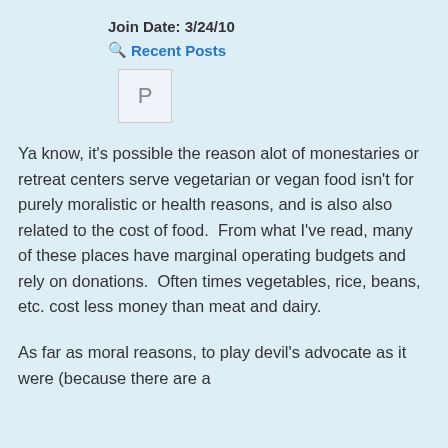Join Date: 3/24/10
Recent Posts
[Figure (other): Avatar placeholder box with letter P]
Ya know, it's possible the reason alot of monestaries or retreat centers serve vegetarian or vegan food isn't for purely moralistic or health reasons, and is also also related to the cost of food.  From what I've read, many of these places have marginal operating budgets and rely on donations.  Often times vegetables, rice, beans, etc. cost less money than meat and dairy.
As far as moral reasons, to play devil's advocate as it were (because there are a